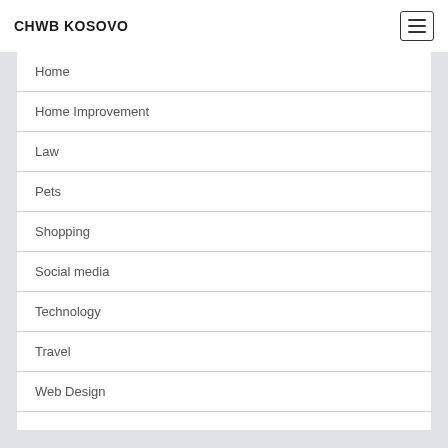CHWB KOSOVO
Home
Home Improvement
Law
Pets
Shopping
Social media
Technology
Travel
Web Design